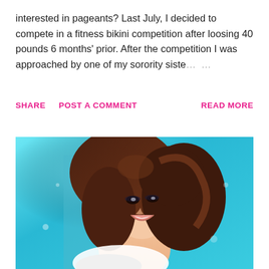interested in pageants? Last July, I decided to compete in a fitness bikini competition after loosing 40 pounds 6 months' prior. After the competition I was approached by one of my sorority siste… …
SHARE   POST A COMMENT   READ MORE
[Figure (photo): A smiling young woman with long dark curly hair, wearing minimal clothing, photographed against a bright turquoise/blue background. She is laughing, with dramatic eye makeup and light pink lip color.]